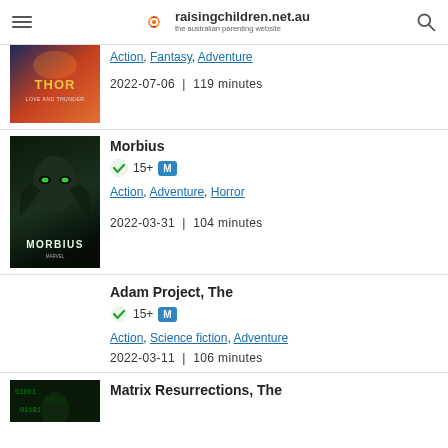raisingchildren.net.au — the australian parenting website
[Figure (photo): Thor Love and Thunder movie poster (partially visible at top)]
Genres: Action, Fantasy, Adventure | Date: 2022-07-06 | 119 minutes
[Figure (photo): Morbius movie poster]
Morbius | 15+ M | Action, Adventure, Horror | 2022-03-31 | 104 minutes
Adam Project, The | 15+ M | Action, Science fiction, Adventure | 2022-03-11 | 106 minutes
[Figure (photo): Matrix Resurrections movie poster (partially visible at bottom)]
Matrix Resurrections, The